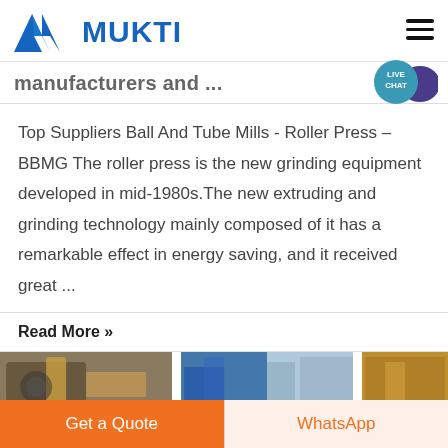[Figure (logo): Mukti company logo with blue triangular M icon and blue bold MUKTI text]
[Figure (illustration): Hamburger menu icon (three horizontal black lines) in top-right corner]
[Figure (illustration): Live Chat bubble icon: teal circle with LIVE CHAT text and purple speech bubble]
manufacturers and ...
Top Suppliers Ball And Tube Mills - Roller Press – BBMG The roller press is the new grinding equipment developed in mid-1980s.The new extruding and grinding technology mainly composed of it has a remarkable effect in energy saving, and it received great ...
Read More »
[Figure (photo): Two partial industrial/construction photos at the bottom of the page]
Get a Quote
WhatsApp